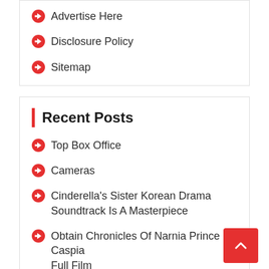Advertise Here
Disclosure Policy
Sitemap
Recent Posts
Top Box Office
Cameras
Cinderella's Sister Korean Drama Soundtrack Is A Masterpiece
Obtain Chronicles Of Narnia Prince Caspian Full Film